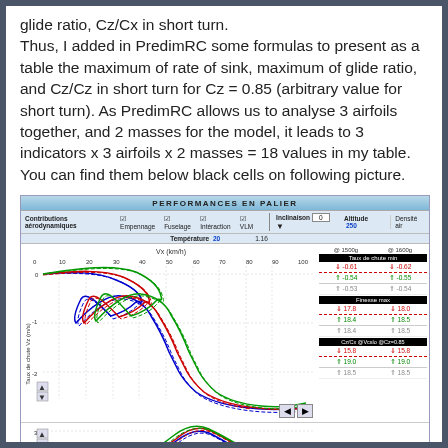glide ratio, Cz/Cx in short turn. Thus, I added in PredimRC some formulas to present as a table the maximum of rate of sink, maximum of glide ratio, and Cz/Cz in short turn for Cz = 0.85 (arbitrary value for short turn). As PredimRC allows us to analyse 3 airfoils together, and 2 masses for the model, it leads to 3 indicators x 3 airfoils x 2 masses = 18 values in my table. You can find them below black cells on following picture.
[Figure (screenshot): PredimRC Performances en Palier screenshot showing polar curves (Taux de chute Vz vs Vx) for multiple airfoils and masses, with a data table on the right showing Taux de chute min, Finesse max, and Cz/Cx @Vcelo @Cz=0.85 for 1500g and 1600g configurations.]